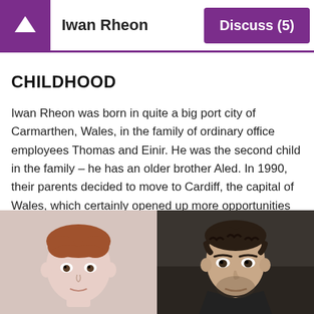Iwan Rheon | Discuss (5)
CHILDHOOD
Iwan Rheon was born in quite a big port city of Carmarthen, Wales, in the family of ordinary office employees Thomas and Einir. He was the second child in the family – he has an older brother Aled. In 1990, their parents decided to move to Cardiff, the capital of Wales, which certainly opened up more opportunities for boys.
[Figure (photo): Two side-by-side photos: left shows a young red-haired child (Iwan Rheon as a boy), right shows a dark-haired adult man (Iwan Rheon as an actor).]